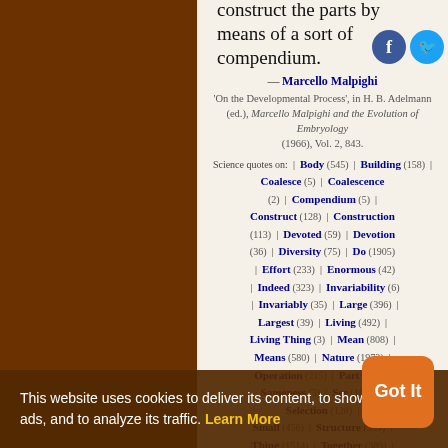construct the parts by means of a sort of compendium.
— Marcello Malpighi 'On the Developmental Process', in H. B. Adelmann (ed.), Marcello Malpighi and the Evolution of Embryology (1966), Vol. 2, 843.
Science quotes on: | Body (545) | Building (158) | Coalesce (5) | Coalescence (2) | Compendium (5) | Construct (128) | Construction (113) | Devoted (59) | Devotion (36) | Diversity (75) | Do (1905) | Effort (233) | Enormous (42) | Indeed (323) | Invariability (6) | Invariably (35) | Large (396) | Largest (39) | Living (492) | Living Thing (3) | Mean (808) | Means (580) | Nature (1973) | Operation (215) | Part (226) | Sameness (3) | See (1082) | Selection (128) | Small (456) | Structure (359) | Thing (1514) | Together (389) | Use (768) | Way (1214) | Whatsoever (41)
This website uses cookies to deliver its content, to show relevant ads, and to analyze its traffic. Learn More